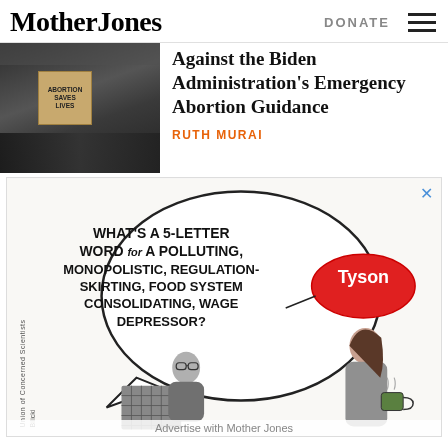Mother Jones
Against the Biden Administration's Emergency Abortion Guidance
RUTH MURAI
[Figure (photo): Protest crowd with sign reading ABORTION SAVES LIVES]
[Figure (illustration): Editorial cartoon: person doing crossword puzzle with speech bubble: WHAT'S A 5-LETTER WORD for A POLLUTING, MONOPOLISTIC, REGULATION-SKIRTING, FOOD SYSTEM CONSOLIDATING, WAGE DEPRESSOR? Woman responds with Tyson brand logo. Union of Concerned Scientists / Bilicki cartoon.]
Advertise with Mother Jones